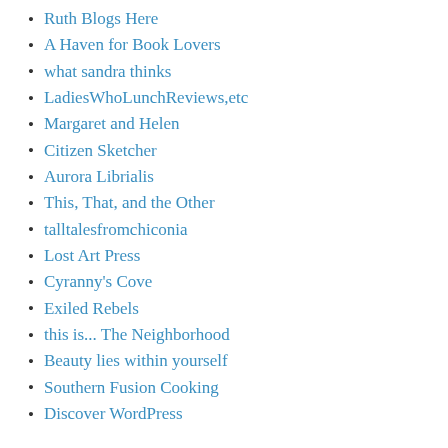Ruth Blogs Here
A Haven for Book Lovers
what sandra thinks
LadiesWhoLunchReviews,etc
Margaret and Helen
Citizen Sketcher
Aurora Librialis
This, That, and the Other
talltalesfromchiconia
Lost Art Press
Cyranny's Cove
Exiled Rebels
this is... The Neighborhood
Beauty lies within yourself
Southern Fusion Cooking
Discover WordPress